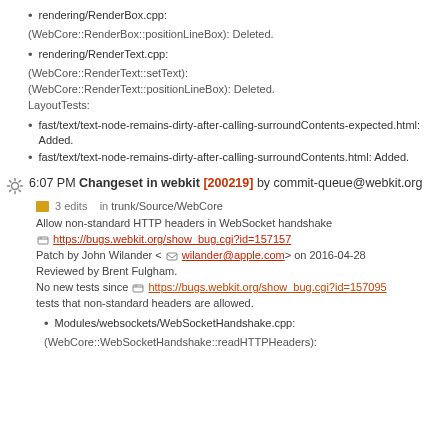rendering/RenderBox.cpp:
(WebCore::RenderBox::positionLineBox): Deleted.
rendering/RenderText.cpp:
(WebCore::RenderText::setText):
(WebCore::RenderText::positionLineBox): Deleted.
LayoutTests:
fast/text/text-node-remains-dirty-after-calling-surroundContents-expected.html: Added.
fast/text/text-node-remains-dirty-after-calling-surroundContents.html: Added.
6:07 PM Changeset in webkit [200219] by commit-queue@webkit.org
3 edits   in trunk/Source/WebCore
Allow non-standard HTTP headers in WebSocket handshake
https://bugs.webkit.org/show_bug.cgi?id=157157
Patch by John Wilander <wilander@apple.com> on 2016-04-28
Reviewed by Brent Fulgham.
No new tests since https://bugs.webkit.org/show_bug.cgi?id=157095
tests that non-standard headers are allowed.
Modules/websockets/WebSocketHandshake.cpp:
(WebCore::WebSocketHandshake::readHTTPHeaders):